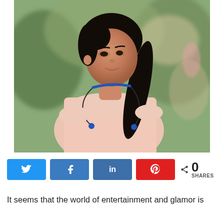[Figure (photo): A young South Asian woman with long dark hair pulled back, wearing a light pink fitted t-shirt with blue wireless earphones around her neck, looking to the side with a slight smile. Background is blurred green outdoor scenery.]
[Figure (infographic): Social media share buttons row: Twitter (blue), Facebook (blue), LinkedIn (dark blue), Pinterest (red), and share count showing 0 SHARES]
It seems that the world of entertainment and glamor is